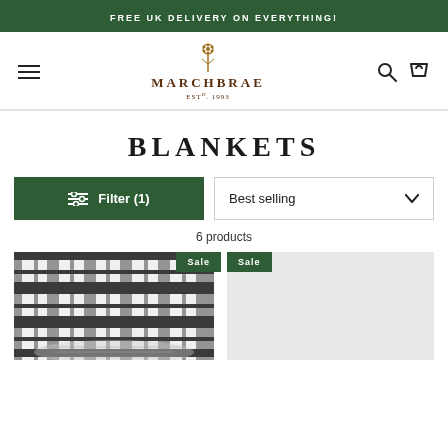FREE UK DELIVERY ON EVERYTHING!
[Figure (logo): Marchbrae logo with thistle flower above text MARCHBRAE EST. 1993]
BLANKETS
Filter (1)
Best selling
6 products
Sale
Sale
[Figure (photo): Folded tartan blanket in grey and white plaid pattern]